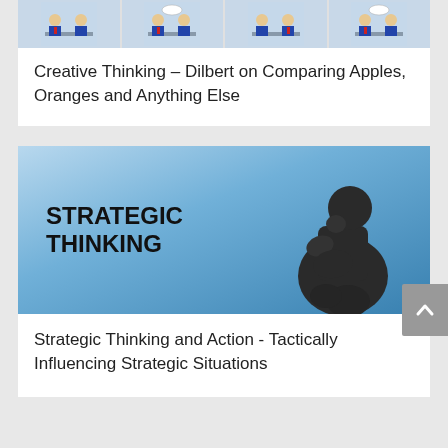[Figure (illustration): Dilbert comic strip showing four panels with cartoon office characters]
Creative Thinking – Dilbert on Comparing Apples, Oranges and Anything Else
[Figure (photo): Photo of The Thinker statue against a blue sky with bold text overlay reading STRATEGIC THINKING]
Strategic Thinking and Action - Tactically Influencing Strategic Situations